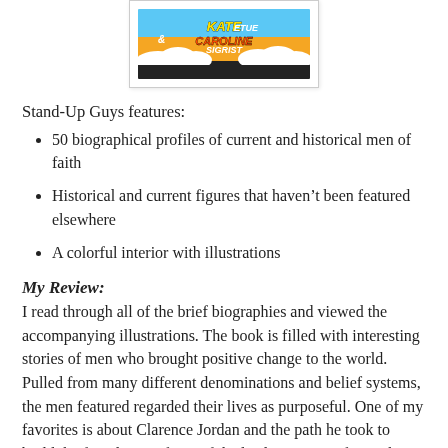[Figure (illustration): Book cover showing 'Kate Etue & Caroline Sigrist' with colorful illustrated design featuring clouds, orange and blue background]
Stand-Up Guys features:
50 biographical profiles of current and historical men of faith
Historical and current figures that haven't been featured elsewhere
A colorful interior with illustrations
My Review:
I read through all of the brief biographies and viewed the accompanying illustrations. The book is filled with interesting stories of men who brought positive change to the world. Pulled from many different denominations and belief systems, the men featured regarded their lives as purposeful. One of my favorites is about Clarence Jordan and the path he took to build the foundation of one of the leading non-profits in the world. The book also